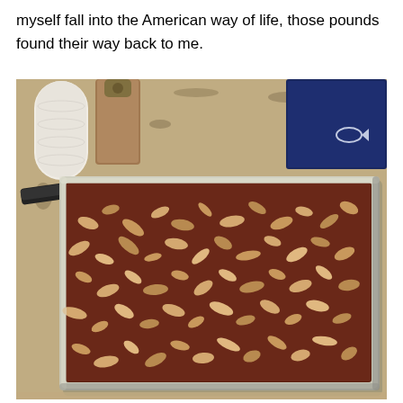myself fall into the American way of life, those pounds found their way back to me.
[Figure (photo): A rectangular metal baking pan filled with a chocolate dessert topped with chopped pecans/nuts, sitting on a granite countertop. A paper towel roll, a wooden cutting board, and a dark blue box are visible in the background. A black spatula lies on the counter to the left of the pan.]